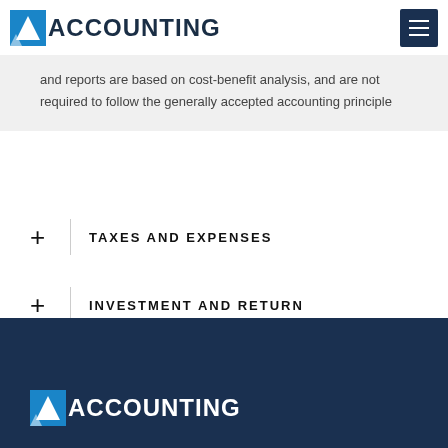ACCOUNTING
and reports are based on cost-benefit analysis, and are not required to follow the generally accepted accounting principle
TAXES AND EXPENSES
INVESTMENT AND RETURN
ACCOUNTING